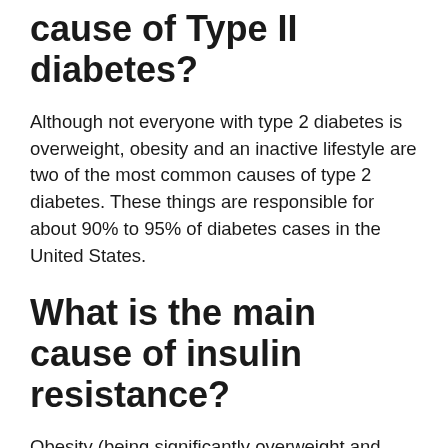cause of Type II diabetes?
Although not everyone with type 2 diabetes is overweight, obesity and an inactive lifestyle are two of the most common causes of type 2 diabetes. These things are responsible for about 90% to 95% of diabetes cases in the United States.
What is the main cause of insulin resistance?
Obesity (being significantly overweight and belly fat), an inactive lifestyle, and a diet high in carbohydrates are the primary causes of insulin resistance.